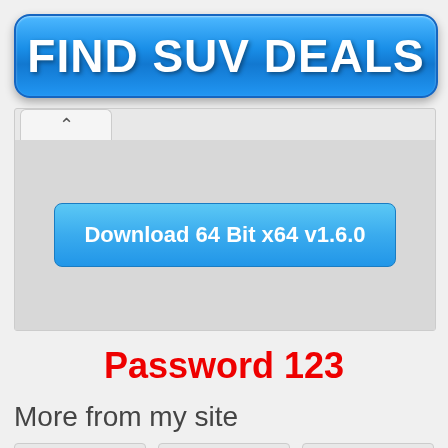[Figure (screenshot): Blue button with white bold text reading FIND SUV DEALS]
[Figure (screenshot): Browser-like UI area showing a tab with chevron and gray content area]
[Figure (screenshot): Blue download button with text: Download 64 Bit x64 v1.6.0]
Password 123
More from my site
[Figure (screenshot): Three gray thumbnail placeholder boxes at bottom of page]